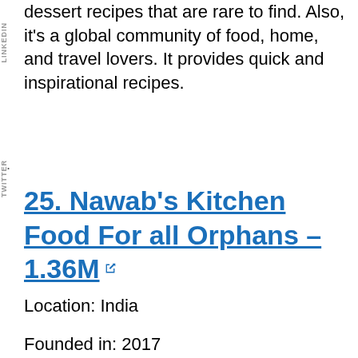dessert recipes that are rare to find. Also, it's a global community of food, home, and travel lovers. It provides quick and inspirational recipes.
25. Nawab's Kitchen Food For all Orphans – 1.36M
Location: India
Founded in: 2017